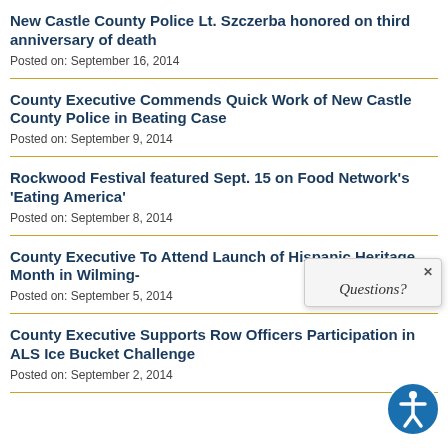New Castle County Police Lt. Szczerba honored on third anniversary of death
Posted on: September 16, 2014
County Executive Commends Quick Work of New Castle County Police in Beating Case
Posted on: September 9, 2014
Rockwood Festival featured Sept. 15 on Food Network's 'Eating America'
Posted on: September 8, 2014
County Executive To Attend Launch of Hispanic Heritage Month in Wilming...
Posted on: September 5, 2014
County Executive Supports Row Officers Participation in ALS Ice Bucket Challenge
Posted on: September 2, 2014